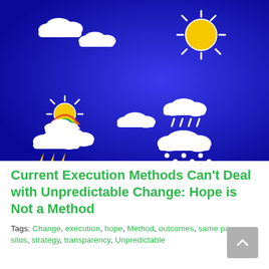[Figure (illustration): Weather icons illustration on a deep blue background: clouds, sun with rays, sun with rainbow and clouds, rain clouds with drops, thunderstorm clouds with yellow lightning bolts, and snow/hail clouds — all in white and yellow on dark navy/royal blue gradient background.]
Current Execution Methods Can't Deal with Unpredictable Change: Hope is Not a Method
Tags: Change, execution, hope, Method, outcomes, same page, silos, strategy, transparency, Unpredictable